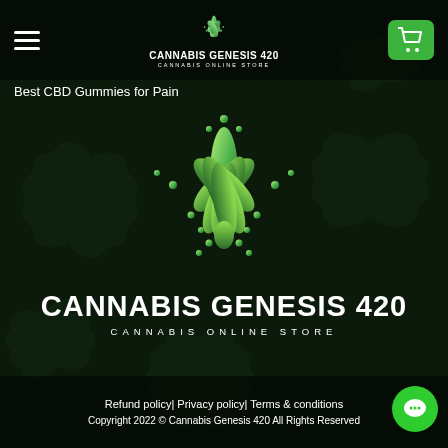[Figure (logo): Cannabis Genesis 420 website header with hamburger menu, centered logo with green cannabis leaf icon and brand name, and green shopping cart button]
Best CBD Gummies for Pain
[Figure (logo): Large Cannabis Genesis 420 logo centered on dark cannabis leaf background - green stylized plant/leaf icon above bold white text CANNABIS GENESIS 420 and subtitle CANNABIS ONLINE STORE]
Refund policy| Privacy policy| Terms & conditions  Copyright 2022 © Cannabis Genesis 420 All Rights Reserved